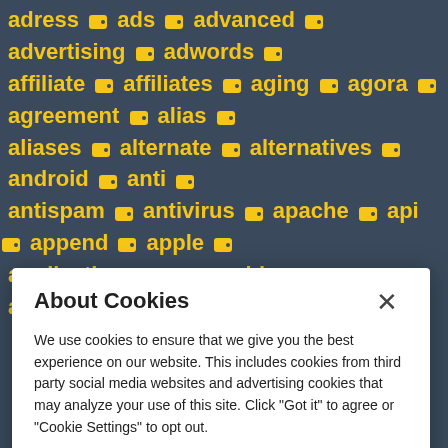[Figure (screenshot): Dark blue/grey background with yellow tag words: adress, ads, advanced, advertising, adwords, affiliate, affiliates, aging, agora, agreement, alias, aliases, alternate, alternatives, android, anti, antispam, antivirus, apache, api, append, apple, application, appmachine, apps, arabic, archive — each followed by a yellow tag icon emoji]
About Cookies
We use cookies to ensure that we give you the best experience on our website. This includes cookies from third party social media websites and advertising cookies that may analyze your use of this site. Click "Got it" to agree or "Cookie Settings" to opt out.
Cookie Notice
Got It
Cookies Settings